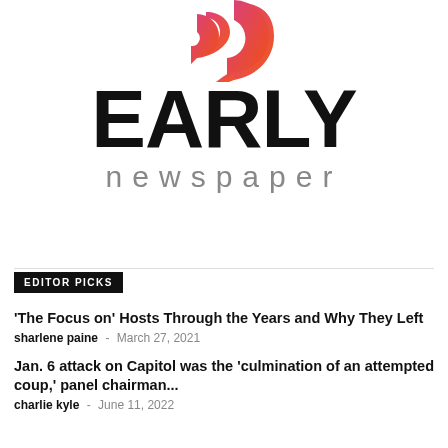[Figure (logo): Early Newspaper logo: pink-to-orange gradient quotation mark icon above bold black 'EARLY' text and gray 'newspaper' text below]
EDITOR PICKS
'The Focus on' Hosts Through the Years and Why They Left
sharlene paine  -  March 27, 2021
Jan. 6 attack on Capitol was the 'culmination of an attempted coup,' panel chairman...
charlie kyle  -  June 11, 2022